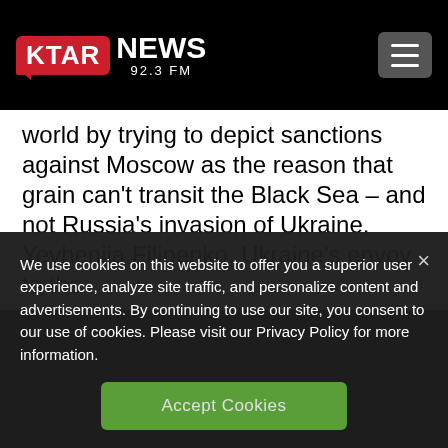[Figure (logo): KTAR News 92.3 FM logo on black header bar with hamburger menu button]
world by trying to depict sanctions against Moscow as the reason that grain can't transit the Black Sea – and not Russia's invasion of Ukraine.

Yevheniia Filipenko, Ukraine's envoy to the
We use cookies on this website to offer you a superior user experience, analyze site traffic, and personalize content and advertisements. By continuing to use our site, you consent to our use of cookies. Please visit our Privacy Policy for more information.
Accept Cookies